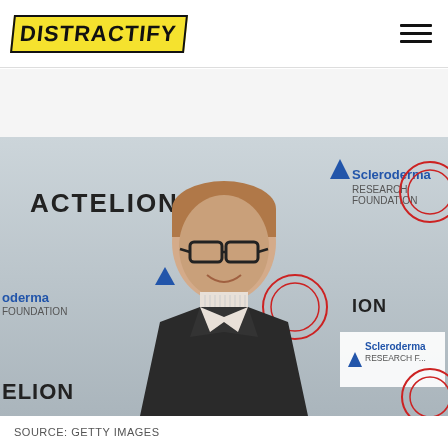DISTRACTIFY
[Figure (photo): Man in dark suit and tie standing in front of a Scleroderma Research Foundation and Actelion step-and-repeat banner backdrop, smiling, wearing glasses]
SOURCE: GETTY IMAGES